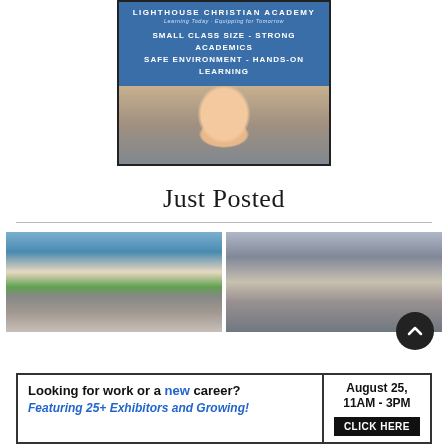[Figure (illustration): Lighthouse Christian Academy advertisement with blue header showing school name, tagline 'Learning Today - Equipping for Tomorrow', features 'Small Class Size - Strong Academics, Safe Environment - Hands-On Learning', and a photo of a young girl with blue eyes]
Just Posted
[Figure (photo): Photo of a skateboarder performing a trick at a skate park with a crowd watching]
[Figure (photo): Photo of cyclists at the start of a race under an inflatable Tour de Victoria arch]
[Figure (illustration): Job fair advertisement: 'Looking for work or a new career? August 25, 11AM - 3PM. Featuring 25+ Exhibitors and Growing! CLICK HERE']